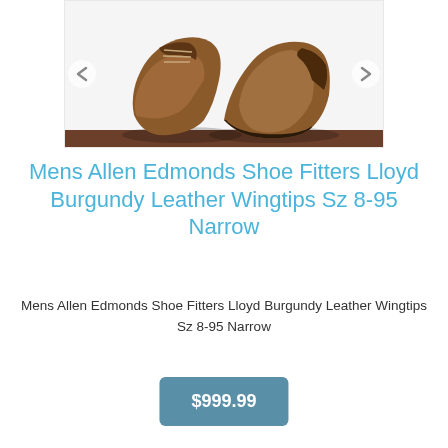[Figure (photo): Two tan/brown leather dress shoes (Allen Edmonds Lloyd Burgundy Leather Wingtips) placed on a white surface, photographed from above at an angle. Navigation arrows visible on left and right sides of the image frame.]
Mens Allen Edmonds Shoe Fitters Lloyd Burgundy Leather Wingtips Sz 8-95 Narrow
Mens Allen Edmonds Shoe Fitters Lloyd Burgundy Leather Wingtips Sz 8-95 Narrow
$999.99